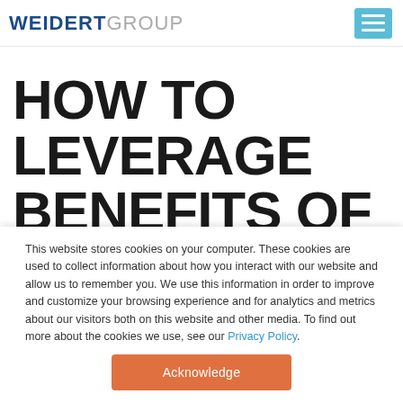WEIDERT GROUP
HOW TO LEVERAGE BENEFITS OF LOCAL
This website stores cookies on your computer. These cookies are used to collect information about how you interact with our website and allow us to remember you. We use this information in order to improve and customize your browsing experience and for analytics and metrics about our visitors both on this website and other media. To find out more about the cookies we use, see our Privacy Policy.
Acknowledge